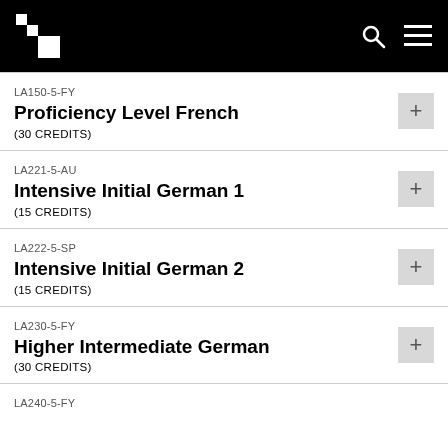LA150-5-FY
Proficiency Level French
(30 CREDITS)
LA221-5-AU
Intensive Initial German 1
(15 CREDITS)
LA222-5-SP
Intensive Initial German 2
(15 CREDITS)
LA230-5-FY
Higher Intermediate German
(30 CREDITS)
LA240-5-FY